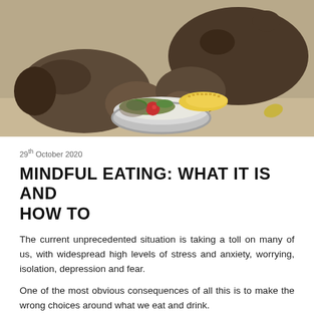[Figure (photo): Two wombats eating from a metal bowl filled with vegetables including corn on the cob and other food items, on sandy ground.]
29th October 2020
MINDFUL EATING: WHAT IT IS AND HOW TO
The current unprecedented situation is taking a toll on many of us, with widespread high levels of stress and anxiety, worrying, isolation, depression and fear.
One of the most obvious consequences of all this is to make the wrong choices around what we eat and drink.
Considering that most of us spent this year at home –